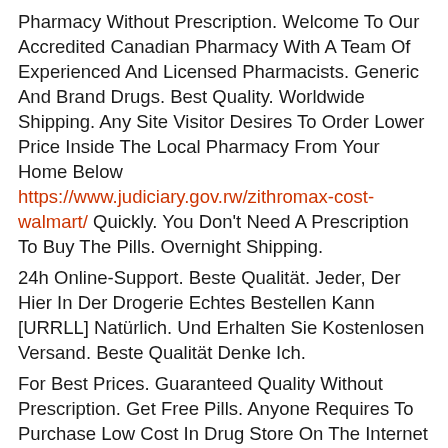Pharmacy Without Prescription. Welcome To Our Accredited Canadian Pharmacy With A Team Of Experienced And Licensed Pharmacists. Generic And Brand Drugs. Best Quality. Worldwide Shipping. Any Site Visitor Desires To Order Lower Price Inside The Local Pharmacy From Your Home Below https://www.judiciary.gov.rw/zithromax-cost-walmart/ Quickly. You Don't Need A Prescription To Buy The Pills. Overnight Shipping.
24h Online-Support. Beste Qualität. Jeder, Der Hier In Der Drogerie Echtes Bestellen Kann [URRLL] Natürlich. Und Erhalten Sie Kostenlosen Versand. Beste Qualität Denke Ich.
For Best Prices. Guaranteed Quality Without Prescription. Get Free Pills. Anyone Requires To Purchase Low Cost In Drug Store On The Internet try this Simply. You Don't Need A Prescription To Buy The Pills. Best Prices For Next Orders. On The Internet Pharmacy From Canada. Food And Drug Administration Accredited 24/seven Pharmacy. Acquire Low-cost Generic Medication On-line. Any Web Site Customer In